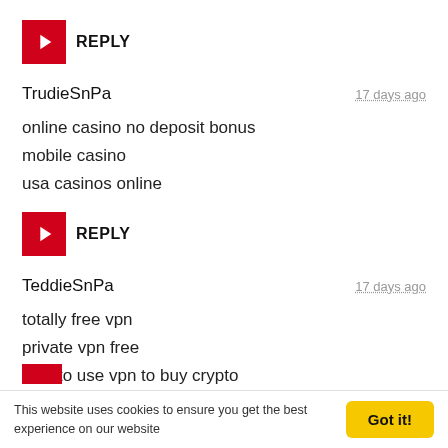REPLY
TrudieSnPa
17 days ago
online casino no deposit bonus
mobile casino
usa casinos online
REPLY
TeddieSnPa
17 days ago
totally free vpn
private vpn free
how to use vpn to buy crypto
This website uses cookies to ensure you get the best experience on our website   Got it!